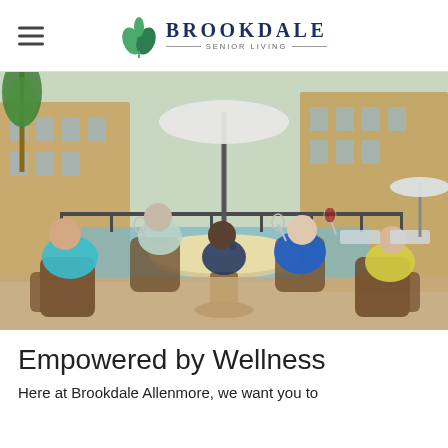Brookdale Senior Living
[Figure (photo): Group of senior residents sitting around an outdoor round table by a pool, raising glasses in a toast. One person is standing. They are at a senior living community patio with apartment buildings in the background.]
Empowered by Wellness
Here at Brookdale Allenmore, we want you to